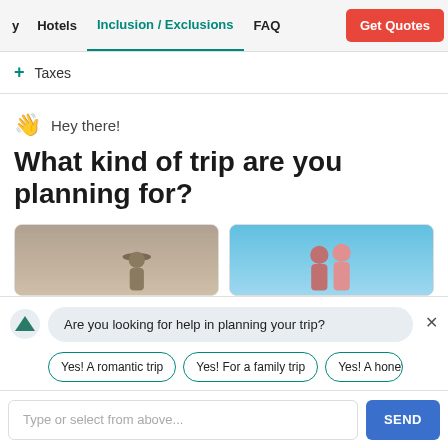Hotels | Inclusion / Exclusions | FAQ | Get Quotes
+ Taxes
👋 Hey there!
What kind of trip are you planning for?
[Figure (photo): Two photos side by side: left shows a person with a hat outdoors in warm tones, right shows a couple against a blue sky background]
Are you looking for help in planning your trip?
Yes! A romantic trip
Yes! For a family trip
Yes! A honey...
Type or select from above...